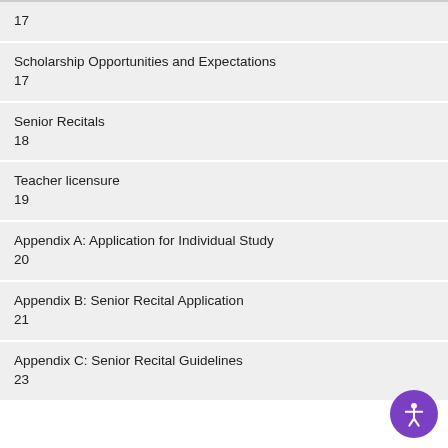| 17 |
| Scholarship Opportunities and Expectations
17 |
| Senior Recitals
18 |
| Teacher licensure
19 |
| Appendix A:  Application for Individual Study
20 |
| Appendix B:  Senior Recital Application
21 |
| Appendix C:  Senior Recital Guidelines
23 |